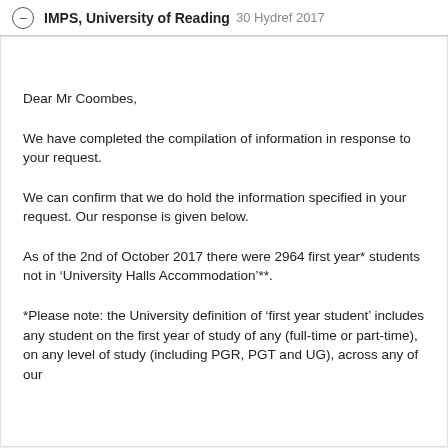IMPS, University of Reading 30 Hydref 2017
Dear Mr Coombes,
We have completed the compilation of information in response to your request.
We can confirm that we do hold the information specified in your request. Our response is given below.
As of the 2nd of October 2017 there were 2964 first year* students not in ‘University Halls Accommodation’**.
*Please note: the University definition of ‘first year student’ includes any student on the first year of study of any (full-time or part-time), on any level of study (including PGR, PGT and UG), across any of our